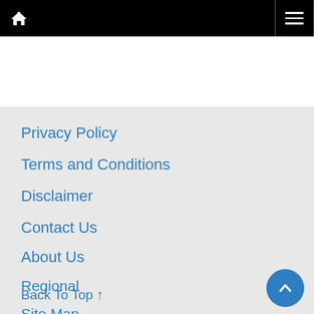Navigation bar with home icon and hamburger menu
Privacy Policy
Terms and Conditions
Disclaimer
Contact Us
About Us
Regional
Site Map
Back To Top ↑